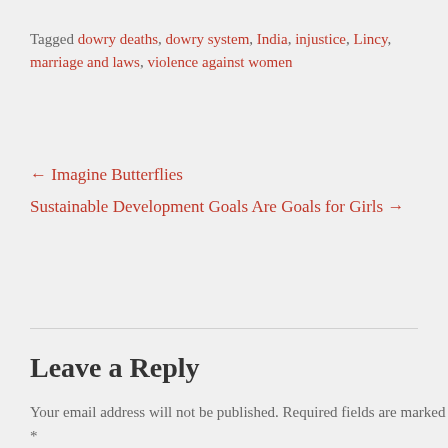Tagged dowry deaths, dowry system, India, injustice, Lincy, marriage and laws, violence against women
← Imagine Butterflies
Sustainable Development Goals Are Goals for Girls →
Leave a Reply
Your email address will not be published. Required fields are marked *